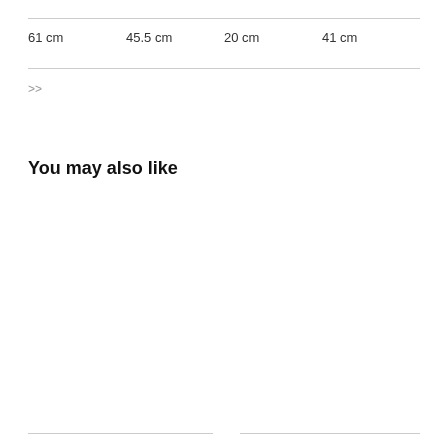| 61 cm | 45.5 cm | 20 cm | 41 cm |
| --- | --- | --- | --- |
>>
You may also like